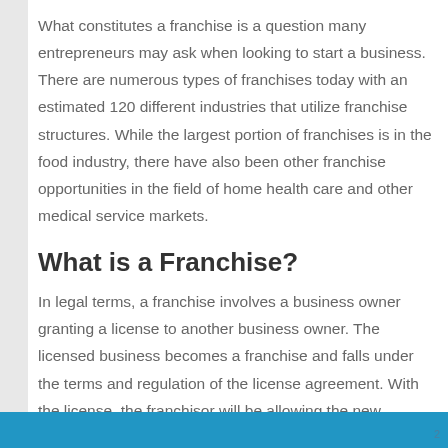What constitutes a franchise is a question many entrepreneurs may ask when looking to start a business. There are numerous types of franchises today with an estimated 120 different industries that utilize franchise structures. While the largest portion of franchises is in the food industry, there have also been other franchise opportunities in the field of home health care and other medical service markets.
What is a Franchise?
In legal terms, a franchise involves a business owner granting a license to another business owner. The licensed business becomes a franchise and falls under the terms and regulation of the license agreement. With the license, the franchisor will be allowing the new
2